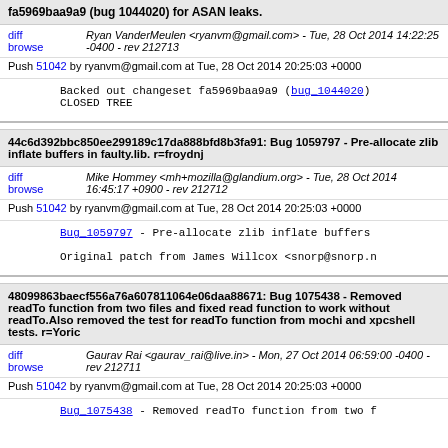fa5969baa9a9 (bug 1044020) for ASAN leaks.
diff browse | Ryan VanderMeulen <ryanvm@gmail.com> - Tue, 28 Oct 2014 14:22:25 -0400 - rev 212713
Push 51042 by ryanvm@gmail.com at Tue, 28 Oct 2014 20:25:03 +0000
Backed out changeset fa5969baa9a9 (bug_1044020) CLOSED TREE
44c6d392bbc850ee299189c17da888bfd8b3fa91: Bug 1059797 - Pre-allocate zlib inflate buffers in faulty.lib. r=froydnj
diff browse | Mike Hommey <mh+mozilla@glandium.org> - Tue, 28 Oct 2014 16:45:17 +0900 - rev 212712
Push 51042 by ryanvm@gmail.com at Tue, 28 Oct 2014 20:25:03 +0000
Bug_1059797 - Pre-allocate zlib inflate buffers
Original patch from James Willcox <snorp@snorp.n
48099863baecf556a76a607811064e06daa88671: Bug 1075438 - Removed readTo function from two files and fixed read function to work without readTo.Also removed the test for readTo function from mochi and xpcshell tests. r=Yoric
diff browse | Gaurav Rai <gaurav_rai@live.in> - Mon, 27 Oct 2014 06:59:00 -0400 - rev 212711
Push 51042 by ryanvm@gmail.com at Tue, 28 Oct 2014 20:25:03 +0000
Bug_1075438 - Removed readTo function from two f